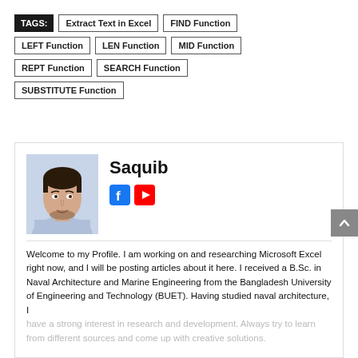TAGS: Extract Text in Excel  FIND Function  LEFT Function  LEN Function  MID Function  REPT Function  SEARCH Function  SUBSTITUTE Function
[Figure (photo): Profile photo of a young man named Saquib wearing a light blue shirt]
Saquib
Welcome to my Profile. I am working on and researching Microsoft Excel right now, and I will be posting articles about it here. I received a B.Sc. in Naval Architecture and Marine Engineering from the Bangladesh University of Engineering and Technology (BUET). Having studied naval architecture, I have a strong interest in research and development. Always try to learn from different sources and come up with creative solutions.